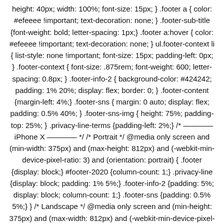height: 40px; width: 100%; font-size: 15px; } .footer a { color: #efeeee !important; text-decoration: none; } .footer-sub-title {font-weight: bold; letter-spacing: 1px;} .footer a:hover { color: #efeeee !important; text-decoration: none; } ul.footer-context li { list-style: none !important; font-size: 15px; padding-left: 0px; } .footer-context { font-size: .875rem; font-weight: 600; letter-spacing: 0.8px; } .footer-info-2 { background-color: #424242; padding: 1% 20%; display: flex; border: 0; } .footer-content {margin-left: 4%;} .footer-sns { margin: 0 auto; display: flex; padding: 0.5% 40%; } .footer-sns-img { height: 75%; padding-top: 25%; } .privacy-line-terms {padding-left: 2%;} /* ———— iPhone X ———— */ /* Portrait */ @media only screen and (min-width: 375px) and (max-height: 812px) and (-webkit-min-device-pixel-ratio: 3) and (orientation: portrait) { .footer {display: block;} #footer-2020 {column-count: 1;} .privacy-line {display: block; padding: 1% 5%;} .footer-info-2 {padding: 5%; display: block; column-count: 1;} .footer-sns {padding: 0.5% 5%;} } /* Landscape */ @media only screen and (min-height: 375px) and (max-width: 812px) and (-webkit-min-device-pixel-ratio: 3) and (orientation: landscape) { .footer {display: block;} .wrap-landing-page-column {margin-left: 2%;} #footer-2020 {padding: 2% 12%;} .footer-info-2 {padding: 1% 2%;} .footer-sns {padding: 0.5% 29%;} .footer-sns {padding: 0.5% 29%;} .privacy-line {font-size: 12px;